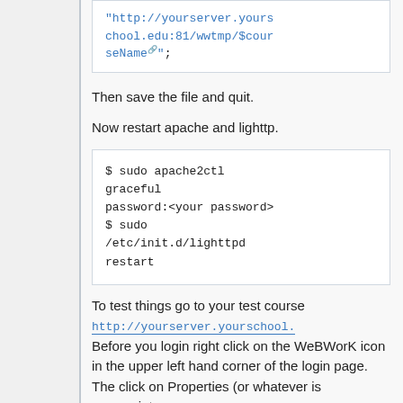[Figure (screenshot): Code box showing a URL: "http://yourserver.yourschool.edu:81/wwtmp/$courseName";]
Then save the file and quit.
Now restart apache and lighttp.
[Figure (screenshot): Code box showing: $ sudo apache2ctl graceful
password:<your password>
$ sudo /etc/init.d/lighttpd restart]
To test things go to your test course http://yourserver.yourschool. Before you login right click on the WeBWorK icon in the upper left hand corner of the login page. The click on Properties (or whatever is appropriate...